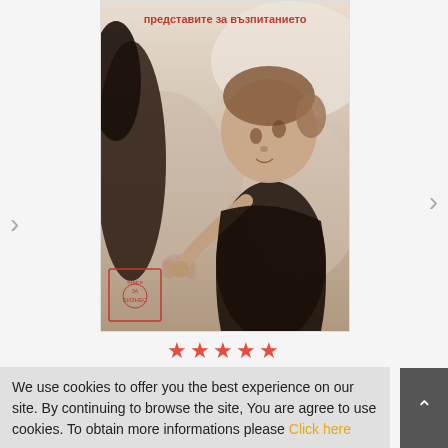[Figure (photo): Book cover showing a black and white sepia-toned photograph of a child reaching up to hold an adult's hand. Bulgarian text at the top reads 'представите за възпитанието' in red/orange. A publisher stamp/logo is visible in the lower left of the cover.]
★★★★★
BETWEEN PARENT AND CHILD
€6.14
We use cookies to offer you the best experience on our site. By continuing to browse the site, You are agree to use cookies. To obtain more informations please Click here